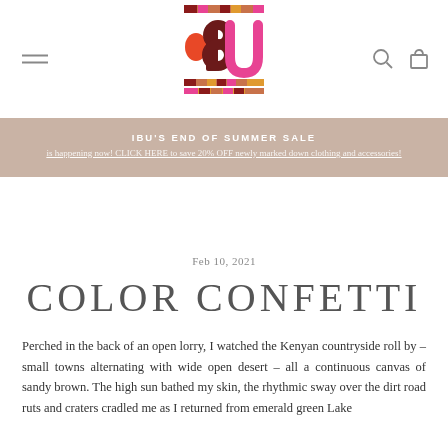[Figure (logo): IBU colorful logo with striped pattern top and bottom, orange and maroon letter forms in center]
IBU'S END OF SUMMER SALE is happening now! CLICK HERE to save 20% OFF newly marked down clothing and accessories!
Feb 10, 2021
COLOR CONFETTI
Perched in the back of an open lorry, I watched the Kenyan countryside roll by – small towns alternating with wide open desert – all a continuous canvas of sandy brown. The high sun bathed my skin, the rhythmic sway over the dirt road ruts and craters cradled me as I returned from emerald green Lake